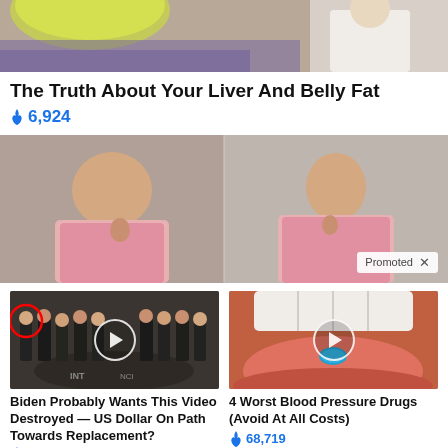[Figure (photo): Partial top image showing a person in a white coat and a yellow/green object, cropped at top of page]
The Truth About Your Liver And Belly Fat
🔥 6,924
[Figure (photo): Before/after style photo of a woman in a pink top, split image, with 'Promoted X' label at bottom right]
[Figure (photo): Thumbnail for video: group of men in suits at CIA-style setting with a red circle highlighting one person and a play button overlay]
Biden Probably Wants This Video Destroyed — US Dollar On Path Towards Replacement?
🔥 472,907
[Figure (photo): Thumbnail for video: close-up of open mouth with tongue out and a blue pill, with play button overlay]
4 Worst Blood Pressure Drugs (Avoid At All Costs)
🔥 68,719